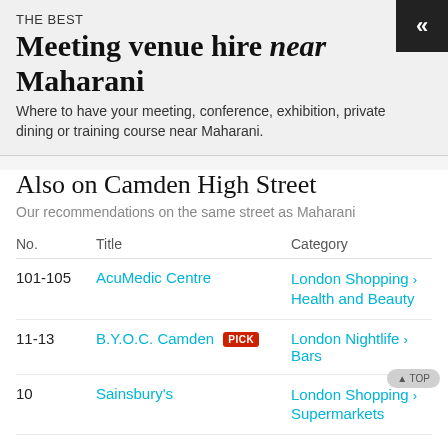THE BEST
Meeting venue hire near Maharani
Where to have your meeting, conference, exhibition, private dining or training course near Maharani.
Also on Camden High Street
Our recommendations on the same street as Maharani
| No. | Title | Category |
| --- | --- | --- |
| 101-105 | AcuMedic Centre | London Shopping > Health and Beauty |
| 11-13 | B.Y.O.C. Camden PICK | London Nightlife > Bars |
| 10 | Sainsbury's | London Shopping > Supermarkets |
| 111-113 | The Blues Kitchen | London Entertainment > Live Music |